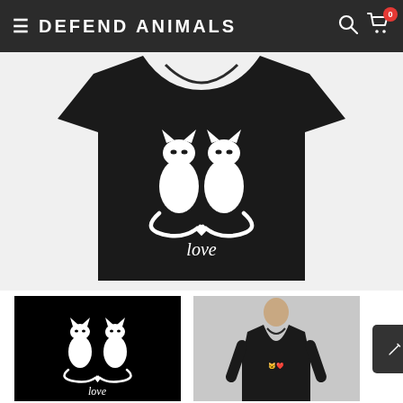≡ DEFEND ANIMALS
[Figure (photo): Black t-shirt with white cat love illustration showing two stylized cats with tails forming a heart shape and the word 'love' below]
[Figure (photo): Thumbnail: close-up of the cat love design on black background]
[Figure (photo): Thumbnail: person wearing the black cat love t-shirt]
✏ CUSTOMIZE